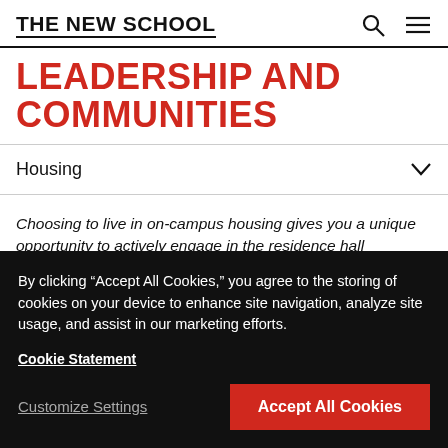THE NEW SCHOOL
LEADERSHIP AND COMMUNITIES
Housing
Choosing to live in on-campus housing gives you a unique opportunity to actively engage in the residence hall community, where you will grow as a student and a leader. There are many opportunities to connect with
By clicking “Accept All Cookies,” you agree to the storing of cookies on your device to enhance site navigation, analyze site usage, and assist in our marketing efforts.
Cookie Statement
Customize Settings
Accept All Cookies